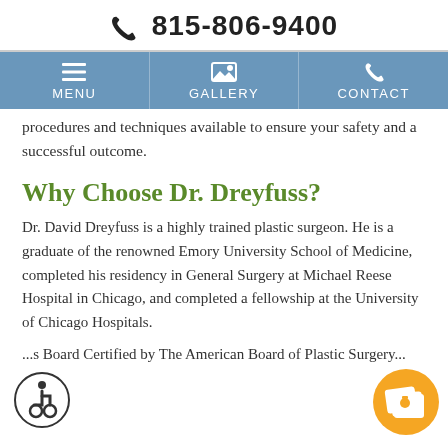☎ 815-806-9400
[Figure (other): Navigation bar with MENU, GALLERY, and CONTACT icons on a steel blue background]
procedures and techniques available to ensure your safety and a successful outcome.
Why Choose Dr. Dreyfuss?
Dr. David Dreyfuss is a highly trained plastic surgeon. He is a graduate of the renowned Emory University School of Medicine, completed his residency in General Surgery at Michael Reese Hospital in Chicago, and completed a fellowship at the University of Chicago Hospitals.
...s Board Certified by The American Board of Plastic Surgery...